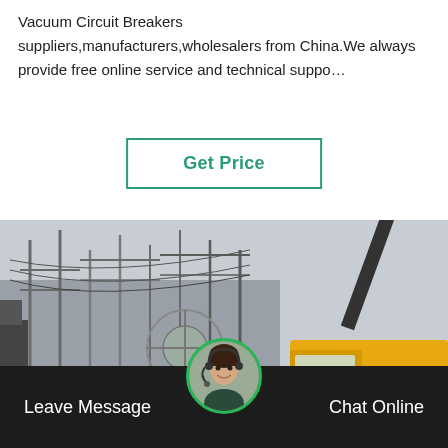Vacuum Circuit Breakers suppliers,manufacturers,wholesalers from China.We always provide free online service and technical suppo…
[Figure (other): Green-bordered button labeled 'Get Price']
[Figure (photo): Photo of an electrical substation with high-voltage towers, gas cylinders on the ground, and a yellow ISUZU truck with a crane arm visible on the right side. Industrial scene in China.]
Leave Message
[Figure (photo): Circular avatar of a customer service representative wearing a headset, shown at bottom center of the footer bar.]
Chat Online